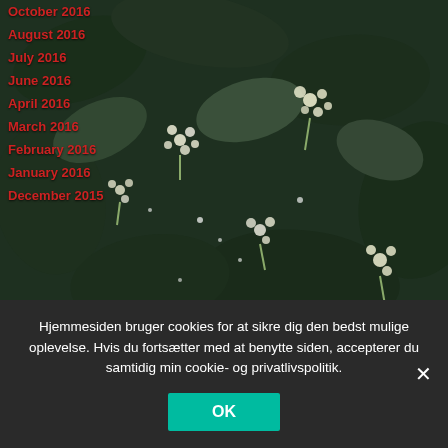[Figure (photo): Close-up photo of white flowering plants with dark green leaves as background]
October 2016
August 2016
July 2016
June 2016
April 2016
March 2016
February 2016
January 2016
December 2015
Hjemmesiden bruger cookies for at sikre dig den bedst mulige oplevelse. Hvis du fortsætter med at benytte siden, accepterer du samtidig min cookie- og privatlivspolitik.